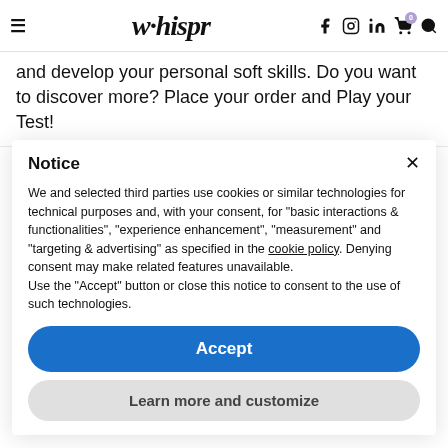whispr
and develop your personal soft skills. Do you want to discover more? Place your order and Play your Test!
Notice
We and selected third parties use cookies or similar technologies for technical purposes and, with your consent, for "basic interactions & functionalities", "experience enhancement", "measurement" and "targeting & advertising" as specified in the cookie policy. Denying consent may make related features unavailable.
Use the "Accept" button or close this notice to consent to the use of such technologies.
Accept
Learn more and customize